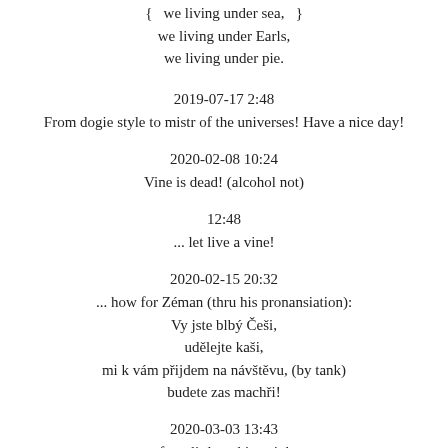{ we living under sea, }
we living under Earls,
we living under pie.
2019-07-17 2:48
From dogie style to mistr of the universes! Have a nice day!
2020-02-08 10:24
Vine is dead! (alcohol not)
12:48
... let live a vine!
2020-02-15 20:32
... how for Zéman (thru his pronansiation):
Vy jste blbý Češi,
udělejte kaši,
mi k vám přijdem na návštěvu, (by tank)
budete zas machři!
2020-03-03 13:43
... for a little - chiana joke:
Welcome to coffeedrom!